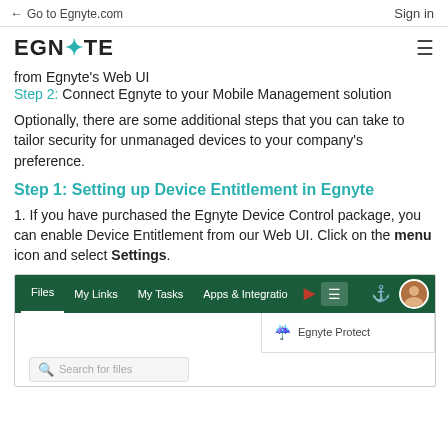← Go to Egnyte.com    Sign in
[Figure (logo): Egnyte logo with teal asterisk/star in the middle of the word, and hamburger menu icon on right]
from Egnyte's Web UI
Step 2: Connect Egnyte to your Mobile Management solution
Optionally, there are some additional steps that you can take to tailor security for unmanaged devices to your company's preference.
Step 1: Setting up Device Entitlement in Egnyte
1. If you have purchased the Egnyte Device Control package, you can enable Device Entitlement from our Web UI. Click on the menu icon and select Settings.
[Figure (screenshot): Screenshot of Egnyte web UI navigation bar showing Files, My Links, My Tasks, Apps & Integratio tabs with a red arrow pointing to the hamburger menu icon, plus a dropdown showing Egnyte Protect option and a search bar below]